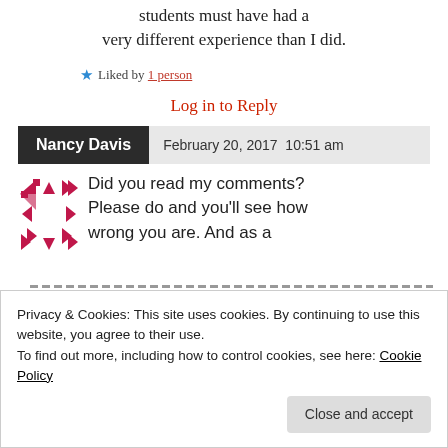students must have had a very different experience than I did.
Liked by 1 person
Log in to Reply
Nancy Davis   February 20, 2017 10:51 am
Did you read my comments? Please do and you'll see how wrong you are. And as a
Privacy & Cookies: This site uses cookies. By continuing to use this website, you agree to their use. To find out more, including how to control cookies, see here: Cookie Policy